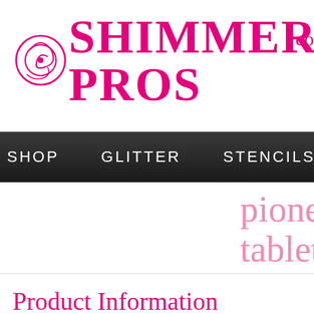[Figure (logo): Shimmer Pros logo with decorative swirl icon and pink bold text reading SHIMMER PROS with partial 'co' text cut off on the right]
SHOP   GLITTER   STENCILS   AC...
pioneer
tablet
Product Information
All the H α, H β, H γ, and H δ lines were observed here with a sufficiently hig... number was 364.50682nm. So if an electron jumps from nth orbit to ground s... occurs when an electron drops from, ah, higher energy level and down to its...